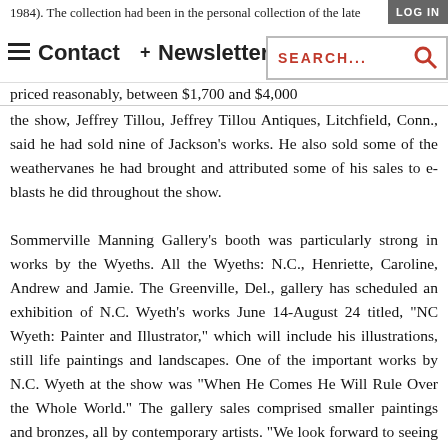1984). The collection had been in the personal collection of the late...
Contact + Newsletter + ...Jordan. The works were priced reasonably, between $1,700 and $4,000
the show, Jeffrey Tillou, Jeffrey Tillou Antiques, Litchfield, Conn., said he had sold nine of Jackson's works. He also sold some of the weathervanes he had brought and attributed some of his sales to e-blasts he did throughout the show.
Sommerville Manning Gallery's booth was particularly strong in works by the Wyeths. All the Wyeths: N.C., Henriette, Caroline, Andrew and Jamie. The Greenville, Del., gallery has scheduled an exhibition of N.C. Wyeth's works June 14-August 24 titled, "NC Wyeth: Painter and Illustrator," which will include his illustrations, still life paintings and landscapes. One of the important works by N.C. Wyeth at the show was "When He Comes He Will Rule Over the Whole World." The gallery sales comprised smaller paintings and bronzes, all by contemporary artists. "We look forward to seeing how the continued involvement of the Philadelphia Museum of Art benefits the show in the future, including it moving to the museum itself," said Rebecca Moore, the gallery's director.
Philadelphia miniatures dealer Elle Shushan said that the most popular miniature in her booth was a circa 1710 English enamel of...